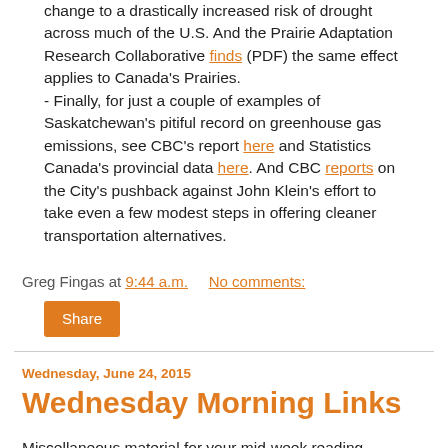change to a drastically increased risk of drought across much of the U.S. And the Prairie Adaptation Research Collaborative finds (PDF) the same effect applies to Canada's Prairies.
- Finally, for just a couple of examples of Saskatchewan's pitiful record on greenhouse gas emissions, see CBC's report here and Statistics Canada's provincial data here. And CBC reports on the City's pushback against John Klein's effort to take even a few modest steps in offering cleaner transportation alternatives.
Greg Fingas at 9:44 a.m.   No comments:
Share
Wednesday, June 24, 2015
Wednesday Morning Links
Miscellaneous material for your mid-week reading.
- Sheila Block points out the problems with the spread of